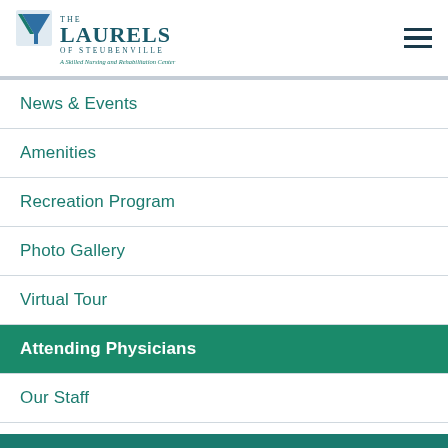[Figure (logo): The Laurels of Steubenville — A Skilled Nursing and Rehabilitation Center logo with blue/teal leaf mark]
News & Events
Amenities
Recreation Program
Photo Gallery
Virtual Tour
Attending Physicians
Our Staff
About the Area